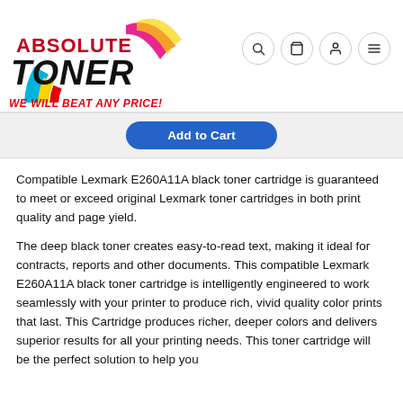[Figure (logo): Absolute Toner logo with rainbow arc graphic and text 'ABSOLUTE TONER' plus tagline 'WE WILL BEAT ANY PRICE!']
[Figure (screenshot): Navigation icons: search, cart, user, menu (hamburger) in circular borders]
[Figure (screenshot): Blue 'Add to Cart' button in a light grey section bar]
Compatible Lexmark E260A11A black toner cartridge is guaranteed to meet or exceed original Lexmark toner cartridges in both print quality and page yield.
The deep black toner creates easy-to-read text, making it ideal for contracts, reports and other documents. This compatible Lexmark E260A11A black toner cartridge is intelligently engineered to work seamlessly with your printer to produce rich, vivid quality color prints that last. This Cartridge produces richer, deeper colors and delivers superior results for all your printing needs. This toner cartridge will be the perfect solution to help you